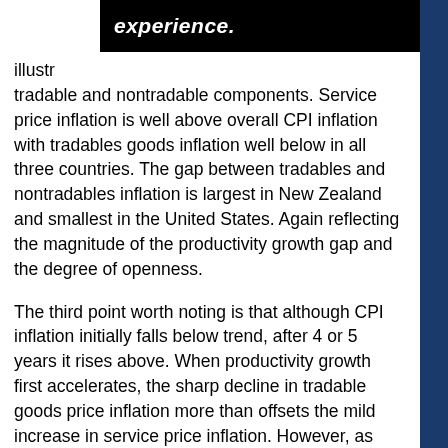illustr tradable and nontradable components. Service price inflation is well above overall CPI inflation with tradables goods inflation well below in all three countries. The gap between tradables and nontradables inflation is largest in New Zealand and smallest in the United States. Again reflecting the magnitude of the productivity growth gap and the degree of openness.
The third point worth noting is that although CPI inflation initially falls below trend, after 4 or 5 years it rises above. When productivity growth first accelerates, the sharp decline in tradable goods price inflation more than offsets the mild increase in service price inflation. However, as agents learn about the persistence in the increase in productivity growth and its implications for their wealth, demand pressures grow. These pressures offset some of the downward pressures on tradables prices from faster productivity growth and increase pressures on nontradables prices. This leads to CPI inflation rising above baseline and prompting monetary policy to tighten. Headline